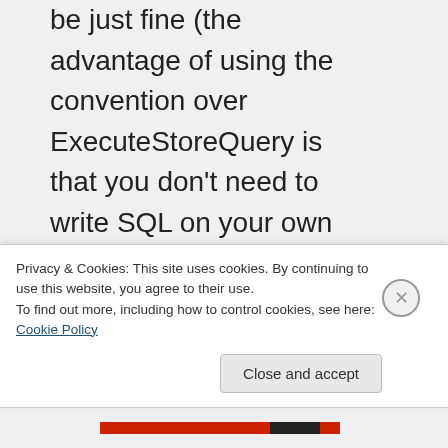be just fine (the advantage of using the convention over ExecuteStoreQuery is that you don't need to write SQL on your own but can use Linq to create queries). Note that ExecuteStoreQuery does not do tracking so if you wanted to use it with entities you would have to use the Translate method (or
Privacy & Cookies: This site uses cookies. By continuing to use this website, you agree to their use.
To find out more, including how to control cookies, see here: Cookie Policy